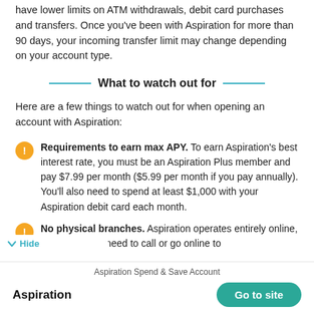have lower limits on ATM withdrawals, debit card purchases and transfers. Once you've been with Aspiration for more than 90 days, your incoming transfer limit may change depending on your account type.
What to watch out for
Here are a few things to watch out for when opening an account with Aspiration:
Requirements to earn max APY. To earn Aspiration's best interest rate, you must be an Aspiration Plus member and pay $7.99 per month ($5.99 per month if you pay annually). You'll also need to spend at least $1,000 with your Aspiration debit card each month.
No physical branches. Aspiration operates entirely online, meaning you'll need to call or go online to
Aspiration Spend & Save Account
Aspiration
Go to site